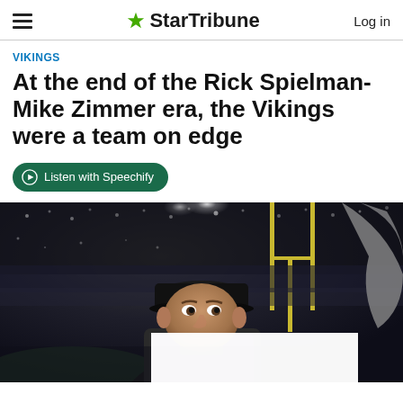StarTribune — Log in
VIKINGS
At the end of the Rick Spielman-Mike Zimmer era, the Vikings were a team on edge
Listen with Speechify
[Figure (photo): Photo of Vikings head coach Mike Zimmer looking up with a stoic expression, standing on the sideline of a football stadium with stadium lights and goal posts visible in the background. A partially visible Viking horn prop is on the right edge.]